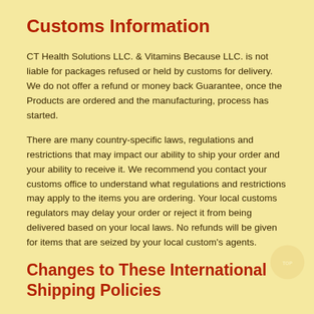Customs Information
CT Health Solutions LLC. & Vitamins Because LLC. is not liable for packages refused or held by customs for delivery. We do not offer a refund or money back Guarantee, once the Products are ordered and the manufacturing, process has started.
There are many country-specific laws, regulations and restrictions that may impact our ability to ship your order and your ability to receive it. We recommend you contact your customs office to understand what regulations and restrictions may apply to the items you are ordering. Your local customs regulators may delay your order or reject it from being delivered based on your local laws. No refunds will be given for items that are seized by your local custom's agents.
Changes to These International Shipping Policies